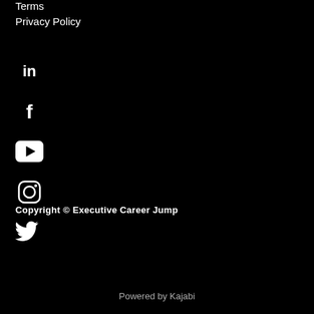Terms
Privacy Policy
[Figure (illustration): LinkedIn icon (white 'in' text on black background)]
[Figure (illustration): Facebook icon (white 'f' letter)]
[Figure (illustration): YouTube icon (white play button in rounded rectangle)]
[Figure (illustration): Instagram icon (white camera outline with circle)]
[Figure (illustration): Twitter icon (white bird silhouette)]
Copyright © Executive Career Jump
Powered by Kajabi